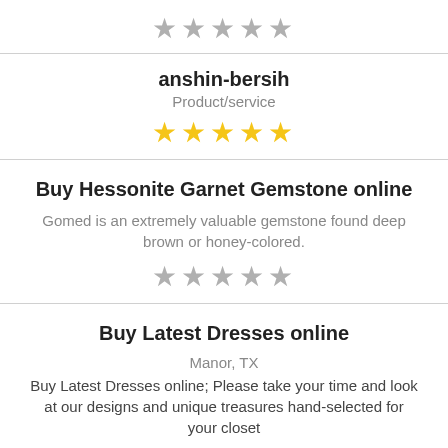[Figure (other): 5 gray star rating icons]
anshin-bersih
Product/service
[Figure (other): 5 yellow star rating icons]
Buy Hessonite Garnet Gemstone online
Gomed is an extremely valuable gemstone found deep brown or honey-colored.
[Figure (other): 5 gray star rating icons]
Buy Latest Dresses online
Manor, TX
Buy Latest Dresses online; Please take your time and look at our designs and unique treasures hand-selected for your closet